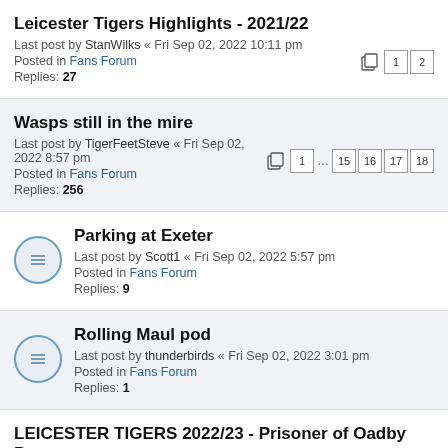Leicester Tigers Highlights - 2021/22
Last post by StanWilks « Fri Sep 02, 2022 10:11 pm
Posted in Fans Forum
Replies: 27
Wasps still in the mire
Last post by TigerFeetSteve « Fri Sep 02, 2022 8:57 pm
Posted in Fans Forum
Replies: 256
Parking at Exeter
Last post by Scott1 « Fri Sep 02, 2022 5:57 pm
Posted in Fans Forum
Replies: 9
Rolling Maul pod
Last post by thunderbirds « Fri Sep 02, 2022 3:01 pm
Posted in Fans Forum
Replies: 1
LEICESTER TIGERS 2022/23 - Prisoner of Oadby Pre...